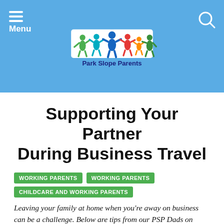[Figure (logo): Park Slope Parents logo with colorful paper-doll figures holding hands, above text 'Park Slope Parents']
Supporting Your Partner During Business Travel
WORKING PARENTS
WORKING PARENTS
CHILDCARE AND WORKING PARENTS
Leaving your family at home when you're away on business can be a challenge. Below are tips from our PSP Dads on making things easier on your partner—and therefore on yourself as well.